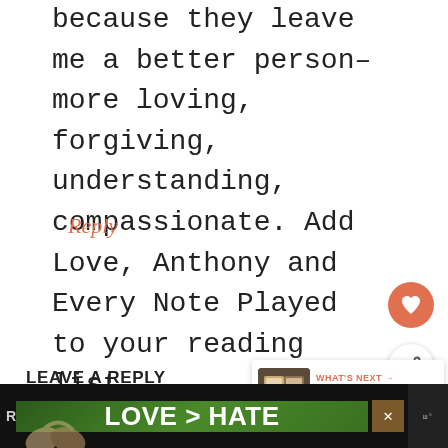because they leave me a better person–more loving, forgiving, understanding, compassionate. Add Love, Anthony and Every Note Played to your reading list.
Reply
[Figure (other): Heart/like button – salmon/orange circular button with white heart icon]
[Figure (other): Share button – white circular button with share/network icon]
LEAVE A REPLY
[Figure (other): What's Next panel with book thumbnail and text: 2 Minute Book Chat – Word...]
Your email address will not be published.
[Figure (other): Advertisement banner at bottom: dark background with hands forming heart shape and text LOVE > HATE, with close button X]